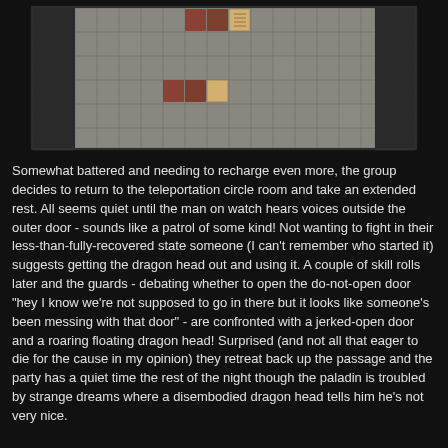[Figure (screenshot): Top-down dungeon tile map showing a grid of stone floor tiles with a dark border. Several tiles in the upper-center and left-center area show dungeon furniture or creature tokens in reddish-brown color, with a lighter floor area surrounded by darker stone/wall tiles.]
Somewhat battered and needing to recharge even more, the group decides to return to the teleportation circle room and take an extended rest. All seems quiet until the man on watch hears voices outside the outer door - sounds like a patrol of some kind! Not wanting to fight in their less-than-fully-recovered state someone (I can't remember who started it) suggests getting the dragon head out and using it. A couple of skill rolls later and the guards - debating whether to open the do-not-open door "hey I know we're not supposed to go in there but it looks like someone's been messing with that door" - are confronted with a jerked-open door and a roaring floating dragon head! Surprised (and not all that eager to die for the cause in my opinion) they retreat back up the passage and the party has a quiet time the rest of the night though the paladin is troubled by strange dreams where a disembodied dragon head tells him he's not very nice.